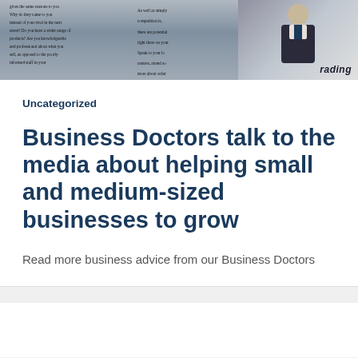[Figure (photo): Newspaper pages with text columns and a man in a suit, with 'trading' and 'on rec...' visible text overlays]
Uncategorized
Business Doctors talk to the media about helping small and medium-sized businesses to grow
Read more business advice from our Business Doctors